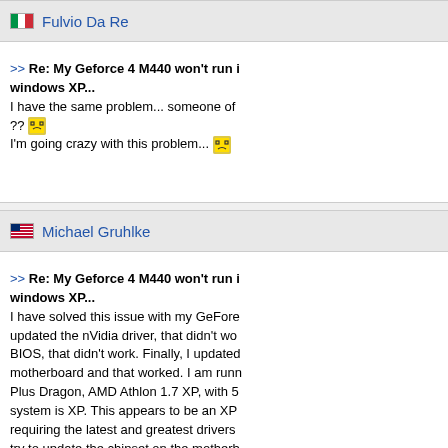Fulvio Da Re — Mar 16, 200... 01:57pm ES
>> Re: My Geforce 4 M440 won't run in windows XP... I have the same problem... someone of ?? [emoji] I'm going crazy with this problem... [emoji]
Michael Gruhlke — Apr 01, 2003 EST
>> Re: My Geforce 4 M440 won't run in windows XP... I have solved this issue with my GeForce... updated the nVidia driver, that didn't wo... BIOS, that didn't work. Finally, I updated... motherboard and that worked. I am runn... Plus Dragon, AMD Athlon 1.7 XP, with 5... system is XP. This appears to be an XP... requiring the latest and greatest drivers... try to update the chipset on the motherb... anything else, may save you time and e...
Billy Zimmer — May 31, 200... 10:18pm ED
>> Re: My Geforce 4 M440 won't run in windows XP...